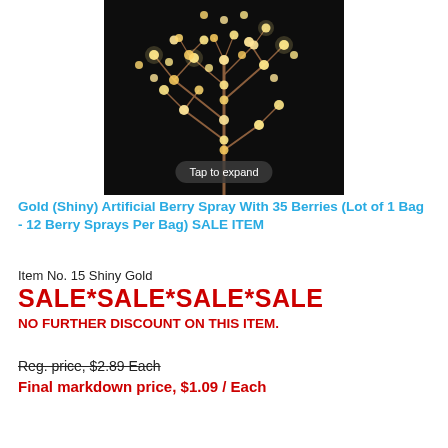[Figure (photo): Product photo of a gold shiny artificial berry spray with 35 warm LED berry lights on dark black background, with 'Tap to expand' overlay button]
Gold (Shiny) Artificial Berry Spray With 35 Berries (Lot of 1 Bag - 12 Berry Sprays Per Bag) SALE ITEM
Item No. 15 Shiny Gold
SALE*SALE*SALE*SALE
NO FURTHER DISCOUNT ON THIS ITEM.
Reg. price, $2.89 Each
Final markdown price, $1.09 / Each